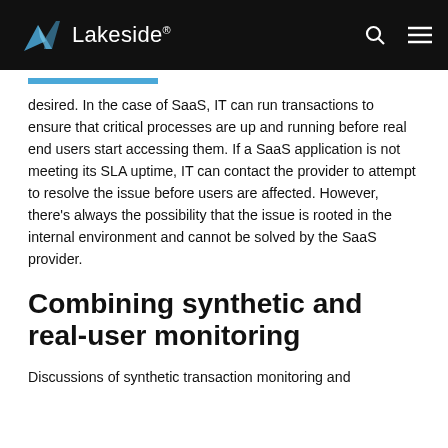Lakeside
desired. In the case of SaaS, IT can run transactions to ensure that critical processes are up and running before real end users start accessing them. If a SaaS application is not meeting its SLA uptime, IT can contact the provider to attempt to resolve the issue before users are affected. However, there’s always the possibility that the issue is rooted in the internal environment and cannot be solved by the SaaS provider.
Combining synthetic and real-user monitoring
Discussions of synthetic transaction monitoring and